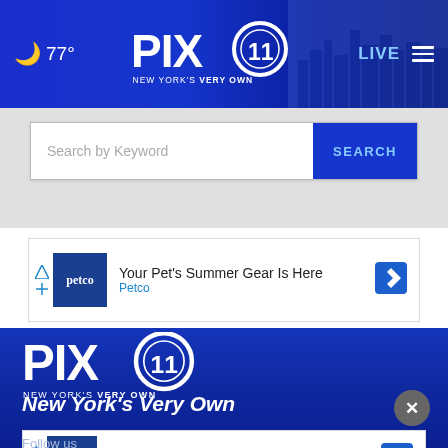PIX11 NEW YORK'S VERY OWN — 77° LIVE
Search by Keyword | SEARCH
[Figure (screenshot): Petco advertisement banner: Your Pet's Summer Gear Is Here — Petco]
[Figure (logo): PIX11 New York's Very Own logo in white on dark blue footer background]
New York's Very Own
[Figure (screenshot): Petco advertisement banner: Get Your Pet Ready For Summer — Petco]
Follow us